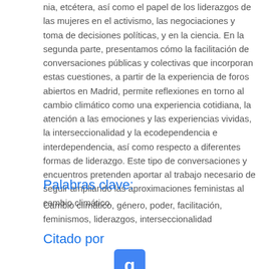nia, etcétera, así como el papel de los liderazgos de las mujeres en el activismo, las negociaciones y toma de decisiones políticas, y en la ciencia. En la segunda parte, presentamos cómo la facilitación de conversaciones públicas y colectivas que incorporan estas cuestiones, a partir de la experiencia de foros abiertos en Madrid, permite reflexiones en torno al cambio climático como una experiencia cotidiana, la atención a las emociones y las experiencias vividas, la interseccionalidad y la ecodependencia e interdependencia, así como respecto a diferentes formas de liderazgo. Este tipo de conversaciones y encuentros pretenden aportar al trabajo necesario de seguir ampliando las aproximaciones feministas al cambio climático.
Palabras clave:
Cambio climático, género, poder, facilitación, feminismos, liderazgos, interseccionalidad
Citado por
[Figure (logo): Google Scholar logo icon — blue square with white letter g]